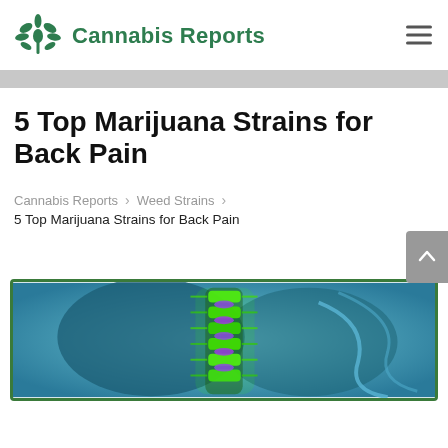Cannabis Reports
5 Top Marijuana Strains for Back Pain
Cannabis Reports > Weed Strains > 5 Top Marijuana Strains for Back Pain
[Figure (illustration): Medical illustration showing a glowing colorful spine/back anatomy with green and purple highlights against a blue background, representing back pain]